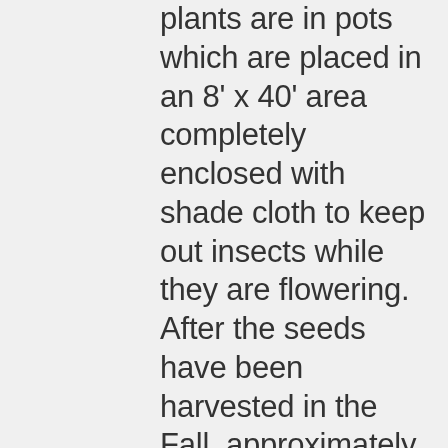plants are in pots which are placed in an 8' x 40' area completely enclosed with shade cloth to keep out insects while they are flowering.  After the seeds have been harvested in the Fall, approximately 20,000 to 30,000 seeds are planted in the basement around the first of December and grown until Spring.  By Spring, after being culled 2 or 3 times during the Winter, there are around 3000 seedlings left.
  After another culling,1500 to 1800  seedlings are then planted in beds in a shade house.  The seedlings are